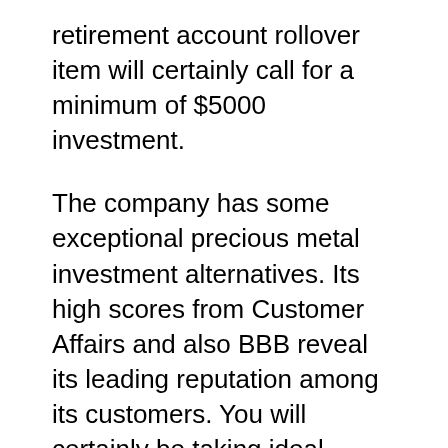retirement account rollover item will certainly call for a minimum of $5000 investment.
The company has some exceptional precious metal investment alternatives. Its high scores from Customer Affairs and also BBB reveal its leading reputation among its customers. You will certainly be taking ideal investment decisions by investing in your IRA with it. The company does not force you to pick any particular product. You are free to select precisely what you need based upon your investment requirements. This business's possession lies with Royal Canadian Mint, BCA and also TrustLink. It has been in this market for many years and keeps getting high rankings.